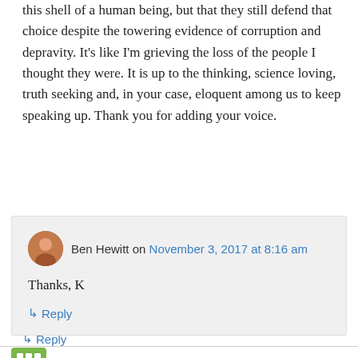this shell of a human being, but that they still defend that choice despite the towering evidence of corruption and depravity. It's like I'm grieving the loss of the people I thought they were. It is up to the thinking, science loving, truth seeking and, in your case, eloquent among us to keep speaking up. Thank you for adding your voice.
↳ Reply
Ben Hewitt on November 3, 2017 at 8:16 am
Thanks, K
↳ Reply
Lindsay on November 2, 2017 at 12:43 pm